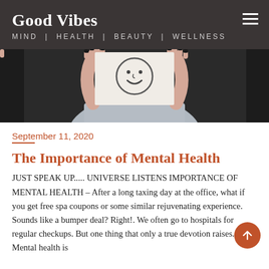Good Vibes
MIND | HEALTH | BEAUTY | WELLNESS
[Figure (photo): Person holding up a piece of paper with a drawn smiley face covering their real face, wearing dark nail polish, dark background]
September 11, 2020
The Importance of Mental Health
JUST SPEAK UP..... UNIVERSE LISTENS IMPORTANCE OF MENTAL HEALTH – After a long taxing day at the office, what if you get free spa coupons or some similar rejuvenating experience. Sounds like a bumper deal? Right!. We often go to hospitals for regular checkups. But one thing that only a true devotion raises. Mental health is